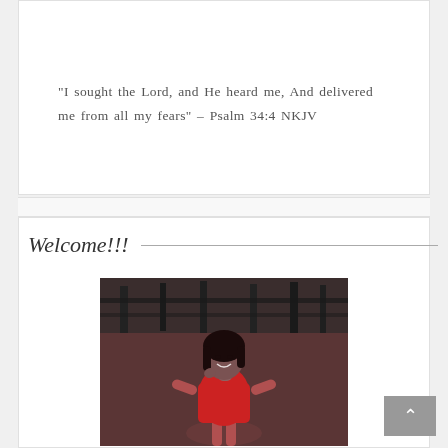“I sought the Lord, and He heard me, And delivered me from all my fears” – Psalm 34:4 NKJV
Welcome!!!
[Figure (photo): A smiling woman wearing a red outfit, photographed indoors with an industrial ceiling visible in the background.]